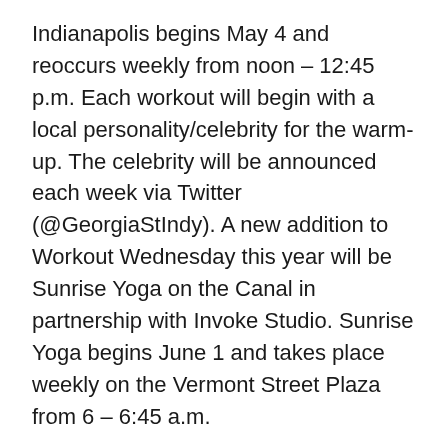Indianapolis begins May 4 and reoccurs weekly from noon – 12:45 p.m. Each workout will begin with a local personality/celebrity for the warm-up. The celebrity will be announced each week via Twitter (@GeorgiaStIndy). A new addition to Workout Wednesday this year will be Sunrise Yoga on the Canal in partnership with Invoke Studio. Sunrise Yoga begins June 1 and takes place weekly on the Vermont Street Plaza from 6 – 6:45 a.m.
Happy Hour Thursdays return to the Boardwalk beginning May 5.
Georgia Street's center block will turn into a work respite from 4:30 – 7:30 p.m. every Thursday. Listen to music from live DJs, relax with friends and order appetizers and drinks from the Boardwalk Bar staffed by the Omni Severin Bar. There's no cover charge, but all attendees must be 21